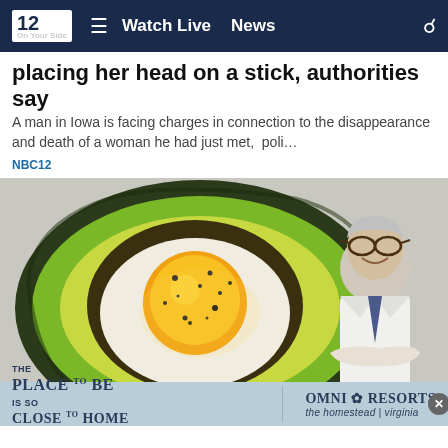NBC12 — Watch Live | News
placing her head on a stick, authorities say
A man in Iowa is facing charges in connection to the disappearance and death of a woman he had just met,  poli…
NBC12
[Figure (photo): Close-up photo of a fried egg cooked inside an avocado half, topped with black pepper, with a doctor in a white lab coat visible in the upper right corner]
[Figure (infographic): Advertisement banner for Omni Resorts The Homestead Virginia with text 'The Place to Be is so Close to Home']